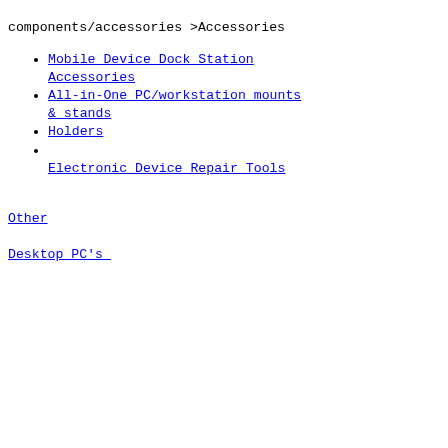components/accessories ><span>Accessories</span><span class="caret">&nbsp;</span></a><span class="opener"> </span><ul class="level1 nav-submenu nav-panel--dropdown nav-panel"><li class="nav-item level2 nav-1-11-84 first classic"><a href="https://www.computersdeal.co.uk/pc-components/accessories/mobile-device-dock-station-accessories"><span>Mobile Device Dock Station Accessories</span></a></li><li class="nav-item level2 nav-1-11-85 classic"><a href="https://www.computersdeal.co.uk/pc-components/accessories/all-in-one-pc-workstation-mounts-stands"><span>All-in-One PC/workstation mounts &amp; stands</span></a></li><li class="nav-item level2 nav-1-11-86 classic"><a href="https://www.computersdeal.co.uk/pc-components/accessories/holders"><span>Holders</span></a></li><li class="nav-item level2 nav-1-11-87 last classic"><a href="https://www.computersdeal.co.uk/pc-components/accessories/electronic-device-repair-tools"><span>Electronic Device Repair Tools</span></a></li></ul></li><li class="nav-item level1 nav-1-12 last classic"><a href="https://www.computersdeal.co.uk/pc-components/other"><span>Other</span></a></li></ul></li><li class="nav-item level0 nav-2 level-top nav-item--parent classic nav-item--only-subcategories parent"><a href="https://www.computersdeal.co.uk/desktop-pc-s" class="level-top"><span>Desktop PC's</span><span class="caret">&nbsp;</span></a><span class="opener"> </span><ul class="level0 nav-submenu nav-panel--dropdown nav-panel"><li class="nav-item level1 nav-2-1